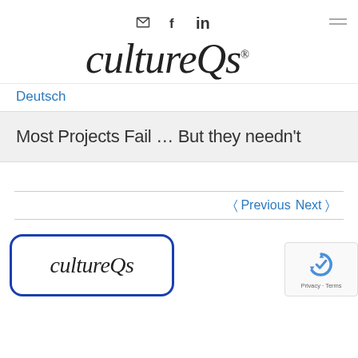[Figure (logo): CultureQs logo in cursive/italic script with registered trademark symbol, centered on white background. Social media icons (email, Facebook, LinkedIn) and hamburger menu visible.]
Deutsch
Most Projects Fail … But they needn't
< Previous   Next >
[Figure (logo): CultureQs logo shown inside a blue rounded-rectangle border card at bottom of page.]